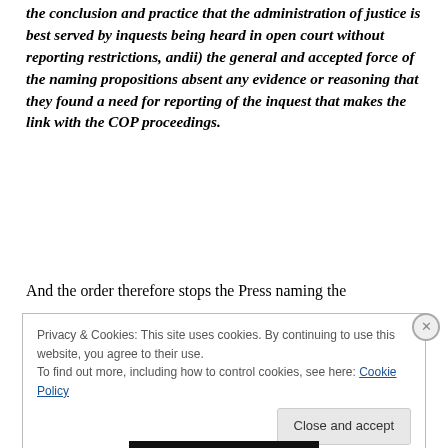y the powerful and weighty reasoning that informs the conclusion and practice that the administration of justice is best served by inquests being heard in open court without reporting restrictions, andii) the general and accepted force of the naming propositions absent any evidence or reasoning that they found a need for reporting of the inquest that makes the link with the COP proceedings.
And the order therefore stops the Press naming the
Privacy & Cookies: This site uses cookies. By continuing to use this website, you agree to their use.
To find out more, including how to control cookies, see here: Cookie Policy